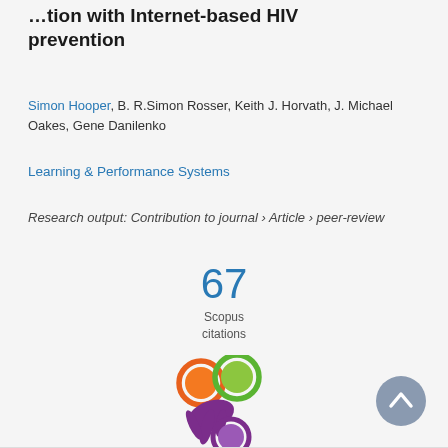…tion with Internet-based HIV prevention
Simon Hooper, B. R.Simon Rosser, Keith J. Horvath, J. Michael Oakes, Gene Danilenko
Learning & Performance Systems
Research output: Contribution to journal › Article › peer-review
67 Scopus citations
[Figure (logo): Altmetric logo — colored circles in orange, green, and purple arranged as a flower/blob shape on a light gray background]
[Figure (other): Gray circular scroll-to-top button with upward chevron arrow]